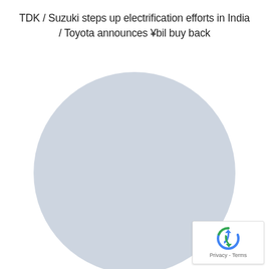TDK / Suzuki steps up electrification efforts in India / Toyota announces ¥bil buy back
[Figure (other): Large light blue-grey circle occupying most of the lower portion of the page, appears to be a partially loaded or placeholder donut/pie chart with no visible data segments or labels.]
[Figure (other): reCAPTCHA badge in bottom-right corner showing the reCAPTCHA logo and Privacy - Terms text.]